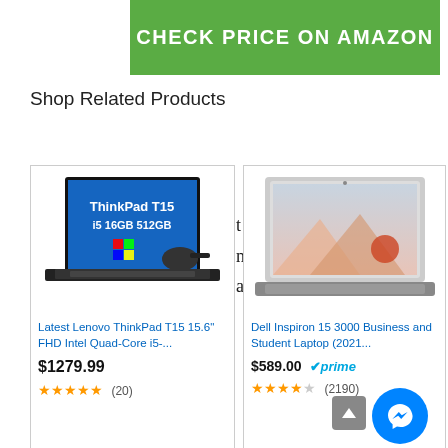[Figure (other): Green CHECK PRICE ON AMAZON button banner]
Shop Related Products
[Figure (photo): Lenovo ThinkPad T15 laptop product image with blue screen showing ThinkPad T15 i5 16GB 512GB]
Latest Lenovo ThinkPad T15 15.6" FHD Intel Quad-Core i5-...
$1279.99
★★★★★ (20)
[Figure (photo): Dell laptop product image on white background]
Dell Inspiron 15 3000 Business and Student Laptop (2021...
$589.00 ✓prime
★★★★☆ (2190)
That's our HP Pavilion X360 2-in-1 Laptop
[Figure (photo): Microsoft Surface laptop product image, silver color]
[Figure (photo): Lenovo ThinkPad E15 laptop with black screen showing ThinkPad E15 Ryzen 7 16GB 512GB Windows Pro]
Microsoft Surface Laptop 3...
2021 Latest Lenovo ThinkPad...